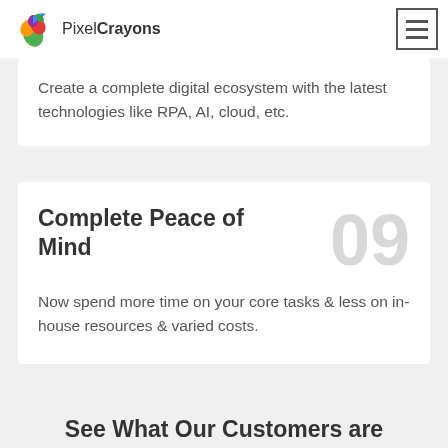PixelCrayons
Create a complete digital ecosystem with the latest technologies like RPA, AI, cloud, etc.
Complete Peace of Mind
Now spend more time on your core tasks & less on in-house resources & varied costs.
See What Our Customers are